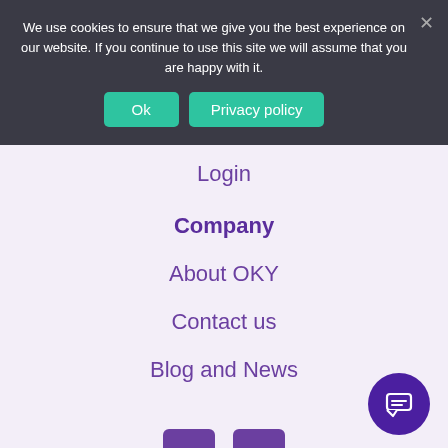We use cookies to ensure that we give you the best experience on our website. If you continue to use this site we will assume that you are happy with it.
Ok
Privacy policy
Login
Company
About OKY
Contact us
Blog and News